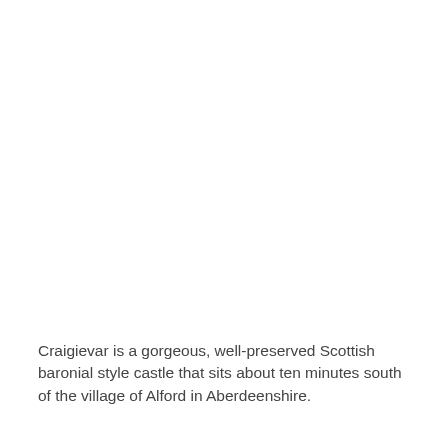[Figure (photo): Photograph of Craigievar Castle, a Scottish baronial style castle. The image occupies the upper portion of the page and appears mostly white/blank in this rendering (image not loaded).]
Craigievar is a gorgeous, well-preserved Scottish baronial style castle that sits about ten minutes south of the village of Alford in Aberdeenshire.